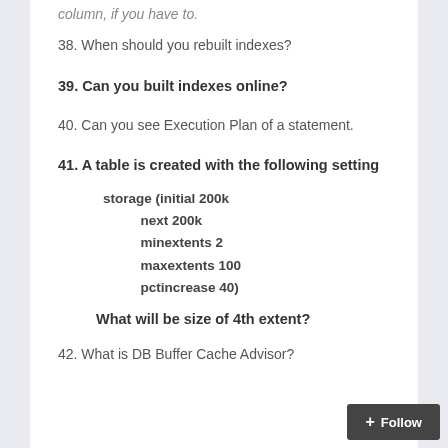column, if you have to.
38. When should you rebuilt indexes?
39. Can you built indexes online?
40. Can you see Execution Plan of a statement.
41. A table is created with the following setting

storage (initial 200k
         next 200k
         minextents 2
         maxextents 100
         pctincrease 40)

What will be size of 4th extent?
42. What is DB Buffer Cache Advisor?